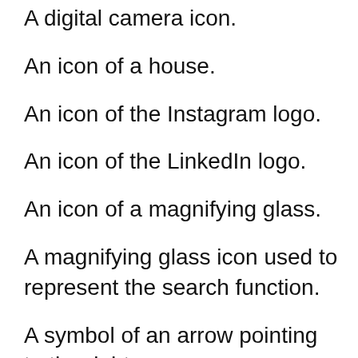A digital camera icon.
An icon of a house.
An icon of the Instagram logo.
An icon of the LinkedIn logo.
An icon of a magnifying glass.
A magnifying glass icon used to represent the search function.
A symbol of an arrow pointing to the right.
An explanation mark centered in a circle.
An icon of an arrow pointing left.